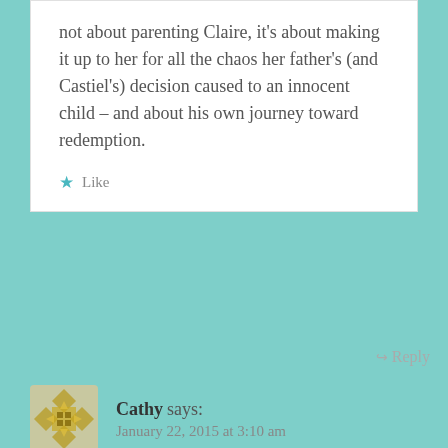not about parenting Claire, it's about making it up to her for all the chaos her father's (and Castiel's) decision caused to an innocent child – and about his own journey toward redemption.
Like
Reply
Cathy says: January 22, 2015 at 3:10 am
The one thing I don't think Dean told Sam is that if he stops killing, then the Mark will kill him. The only reason Cain could survive the Mark was because he was a demon (at least according to